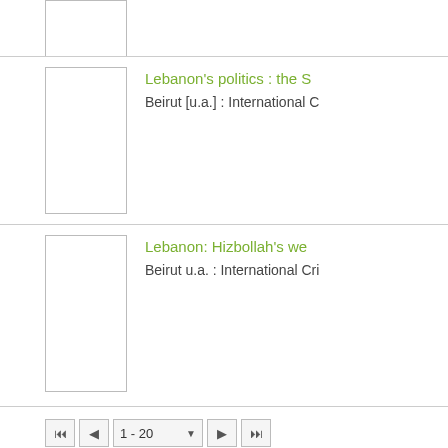[Figure (illustration): Partial book thumbnail (top portion cut off) at top of page]
Lebanon's politics : the S
Beirut [u.a.] : International C
Lebanon: Hizbollah's we
Beirut u.a. : International Cri
1 - 20 (pagination control)
Visual Library Server 2022